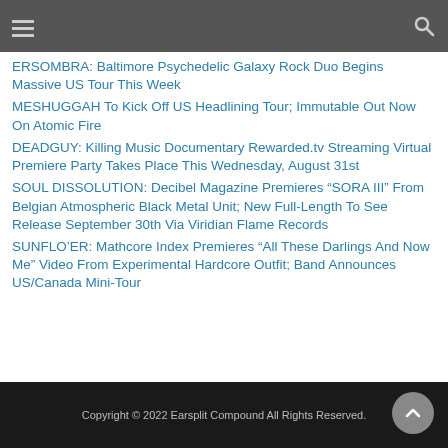≡ RSOMBRA: Baltimore Psychedelic Galaxy Rock Duo Begins Massive US Tour This Week
ERSOMBRA: Baltimore Psychedelic Galaxy Rock Duo Begins Massive US Tour This Week
MESHUGGAH To Kick Off US Headlining Tour; Immutable Out Now On Atomic Fire
DEADGUY: Killing Music Documentary Rewarded.tv Streaming Virtual Premiere Party Takes Place This Wednesday, August 31st
SOUL DISSOLUTION: Decibel Magazine Premieres “SORA III” From Belgian Atmospheric Black Metal Unit; New Full-Length To See Release September 30th Via Viridian Flame Records
SUNFLO’ER: Mathcore Index Premieres “All These Darlings And Now Me” Video From Experimental Hardcore Outfit; Band Announces US/Canada Mini-Tour
Copyright © 2022 Earsplit Compound All Rights Reserved.